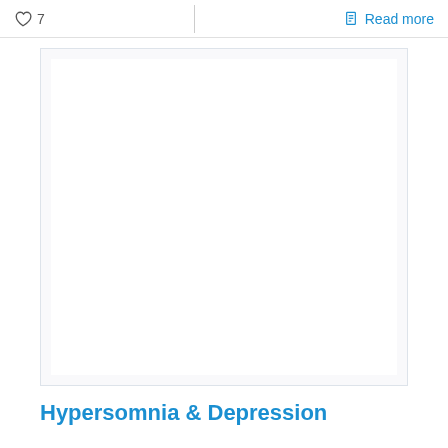♡ 7   Read more
[Figure (photo): Blank white image card placeholder within a light gray bordered frame]
Hypersomnia & Depression